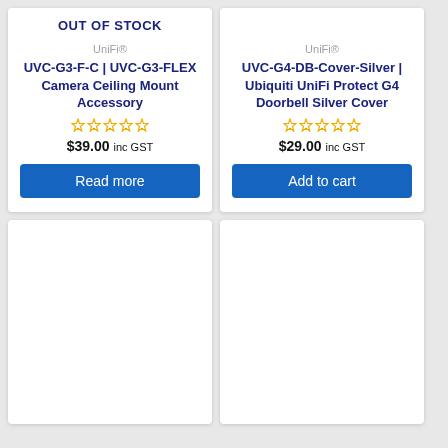OUT OF STOCK
UniFi®
UVC-G3-F-C | UVC-G3-FLEX Camera Ceiling Mount Accessory
$39.00 inc GST
Read more
UniFi®
UVC-G4-DB-Cover-Silver | Ubiquiti UniFi Protect G4 Doorbell Silver Cover
$29.00 inc GST
Add to cart